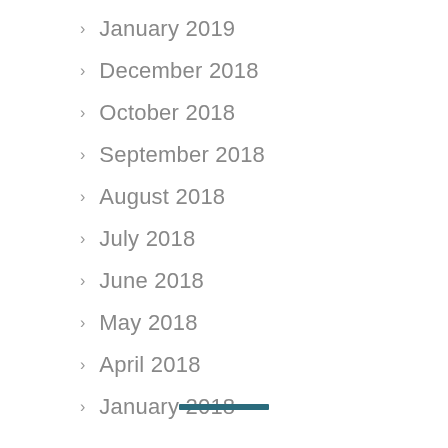January 2019
December 2018
October 2018
September 2018
August 2018
July 2018
June 2018
May 2018
April 2018
January 2018